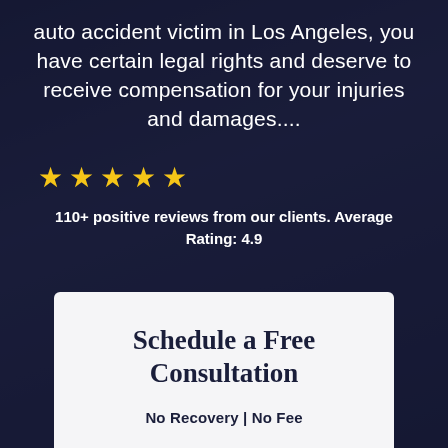auto accident victim in Los Angeles, you have certain legal rights and deserve to receive compensation for your injuries and damages....
[Figure (other): Five gold star rating icons in a row]
110+ positive reviews from our clients. Average Rating: 4.9
Schedule a Free Consultation
No Recovery | No Fee